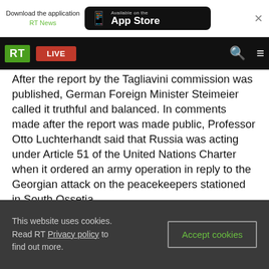[Figure (screenshot): App Store download banner for RT News app]
[Figure (screenshot): RT website navigation bar with logo, LIVE button, search and menu icons]
After the report by the Tagliavini commission was published, German Foreign Minister Steimeier called it truthful and balanced. In comments made after the report was made public, Professor Otto Luchterhandt said that Russia was acting under Article 51 of the United Nations Charter when it ordered an army operation in reply to the Georgian attack on the peacekeepers stationed in South Ossetia.
You can share this story on social media:
This website uses cookies. Read RT Privacy policy to find out more.